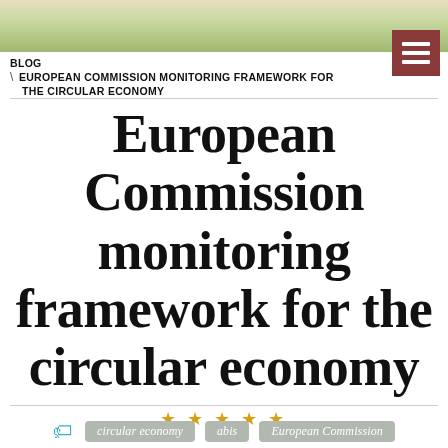[Figure (photo): Top banner image showing a green circular economy related object on a light background]
BLOG \ EUROPEAN COMMISSION MONITORING FRAMEWORK FOR THE CIRCULAR ECONOMY
European Commission monitoring framework for the circular economy
★★★★★
circular economy
abis
European Commission